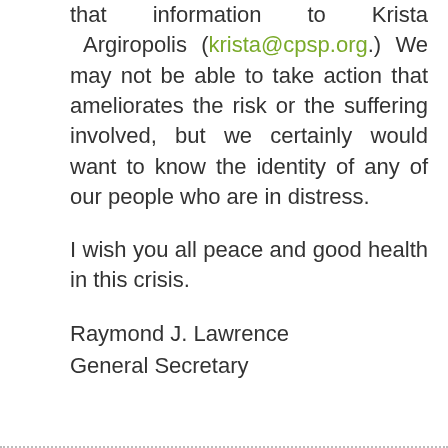that information to Krista Argiropolis (krista@cpsp.org.) We may not be able to take action that ameliorates the risk or the suffering involved, but we certainly would want to know the identity of any of our people who are in distress.
I wish you all peace and good health in this crisis.
Raymond J. Lawrence
General Secretary